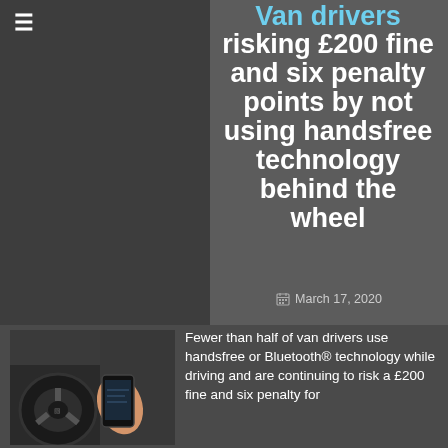Van drivers risking £200 fine and six penalty points by not using handsfree technology behind the wheel
March 17, 2020
[Figure (photo): Person holding a smartphone in front of a car steering wheel]
Fewer than half of van drivers use handsfree or Bluetooth® technology while driving and are continuing to risk a £200 fine and six penalty for